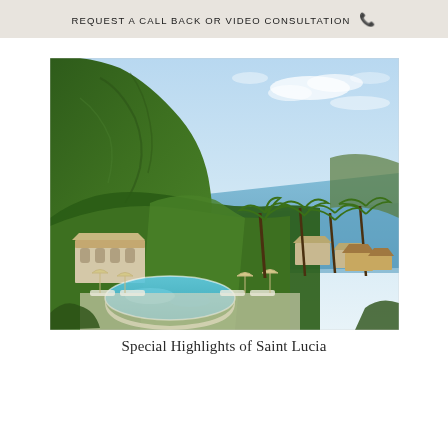REQUEST A CALL BACK OR VIDEO CONSULTATION 📞
[Figure (photo): Aerial view of a luxury resort with a swimming pool surrounded by lounge chairs and umbrellas, lush tropical palm trees, white villa-style buildings, a dramatic steep green mountain peak rising behind, and a calm blue sea bay in the background under a partly cloudy sky — Saint Lucia.]
Special Highlights of Saint Lucia